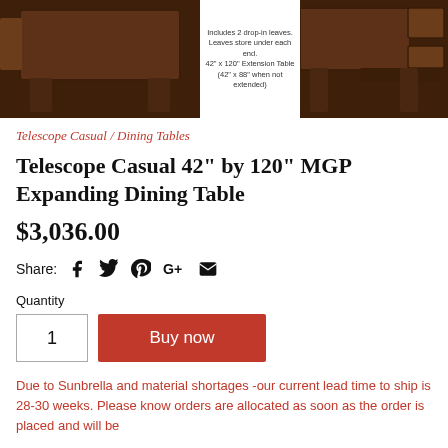[Figure (photo): Product images of a dark brown wooden extending dining table shown from different angles. Center annotation reads: Includes 2 drop-in leaves. Leaves store under each end. 42" x 120" Extension Table (42" x 88" when not extended)]
Telescope Casual / Dining Tables
Telescope Casual 42" by 120" MGP Expanding Dining Table
$3,036.00
Share:
Quantity
1
Buy now
Due to Sunbrella and material shortages -our current lead time to ship is 28-30 weeks. Please know orders are allocated as soon as the order is placed and will be